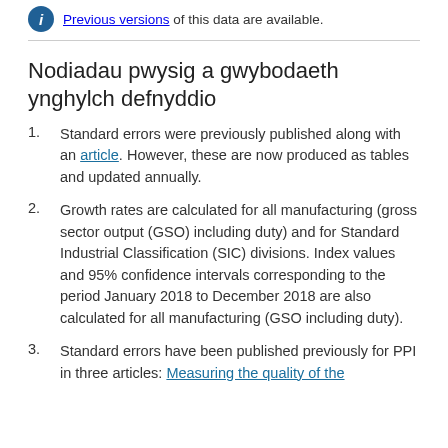Previous versions of this data are available.
Nodiadau pwysig a gwybodaeth ynghylch defnyddio
Standard errors were previously published along with an article. However, these are now produced as tables and updated annually.
Growth rates are calculated for all manufacturing (gross sector output (GSO) including duty) and for Standard Industrial Classification (SIC) divisions. Index values and 95% confidence intervals corresponding to the period January 2018 to December 2018 are also calculated for all manufacturing (GSO including duty).
Standard errors have been published previously for PPI in three articles: Measuring the quality of the